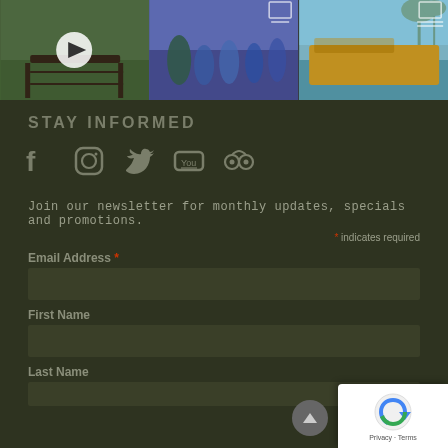[Figure (photo): Three social media thumbnail photos: left shows outdoor wooden railing/trees with a video play button overlay, center shows blurred marathon/running event crowd with person in green shirt, right shows yellow wooden boat on water with palm trees]
STAY INFORMED
[Figure (infographic): Social media icons: Facebook, Instagram, Twitter, YouTube, TripAdvisor]
Join our newsletter for monthly updates, specials and promotions.
* indicates required
Email Address *
First Name
Last Name